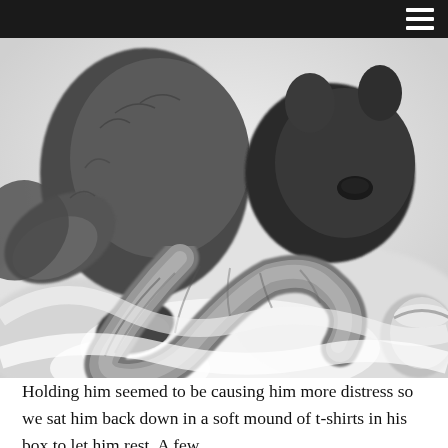[Figure (photo): Black and white close-up photograph of a small squirrel curled up on a white cloth or t-shirt, with its bushy tail curled around its body. A partial view of a cup or bowl is visible in the lower right corner.]
Holding him seemed to be causing him more distress so we sat him back down in a soft mound of t-shirts in his box to let him rest. A few